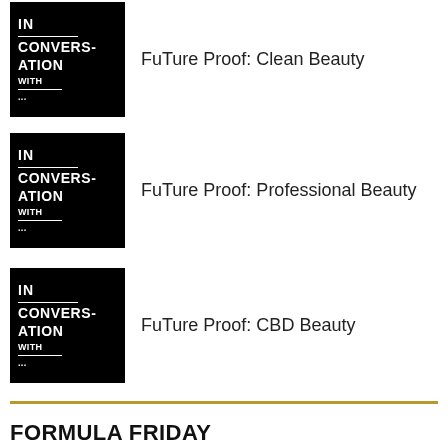FuTure Proof: Clean Beauty
FuTure Proof: Professional Beauty
FuTure Proof: CBD Beauty
FORMULA FRIDAY
Univar Solutions: Frill Seeker Cryo Gel Cream
Univar Solutions: Forever Impressions Just Marvellous Glitter Lash Topper
Univar Solutions: Forever Impressions Pearls of